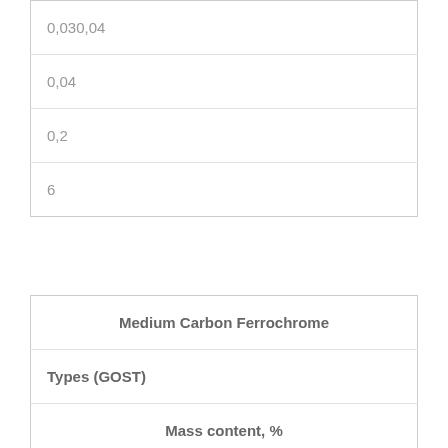| 0,030,04 |
| 0,04 |
| 0,2 |
| 6 |
| Medium Carbon Ferrochrome |
| --- |
| Types (GOST) |  |
|  | Mass content, % |
| Cr |  |